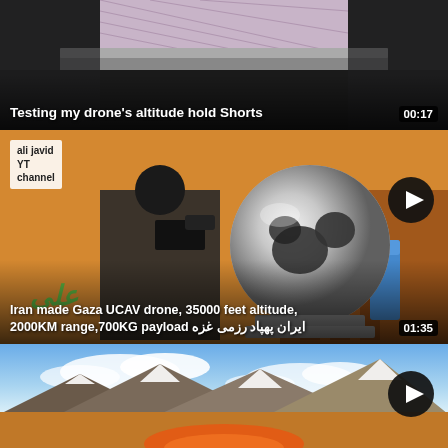[Figure (screenshot): YouTube video thumbnail: 'Testing my drone's altitude hold Shorts' with duration badge 00:17. Dark background with checkered tablecloth and metallic surface visible.]
Testing my drone’s altitude hold Shorts
[Figure (screenshot): YouTube video thumbnail showing animated UCAV drone from Iran, with channel watermark 'ali javid YT channel' and play button. Video title: 'Iran made Gaza UCAV drone, 35000 feet altitude, 2000KM range,700KG payload ایران پهپاد رزمی غزه'. Duration: 01:35.]
Iran made Gaza UCAV drone, 35000 feet altitude, 2000KM range,700KG payload ایران پهپاد رزمی غزه
[Figure (screenshot): YouTube video thumbnail showing aerial mountain landscape with blue sky and clouds, with a play button visible.]